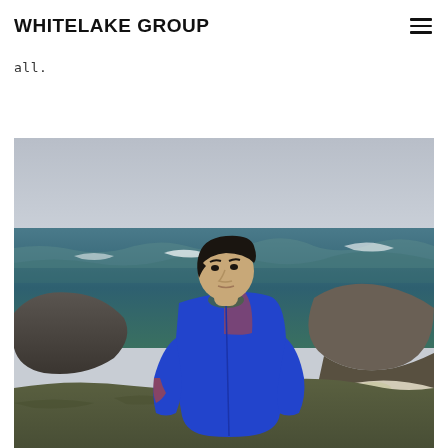WHITELAKE GROUP
all.
[Figure (photo): A young man with dark hair wearing a blue jacket with orange and green accents, standing on rocky coastal terrain with ocean waves and grey sky in background]